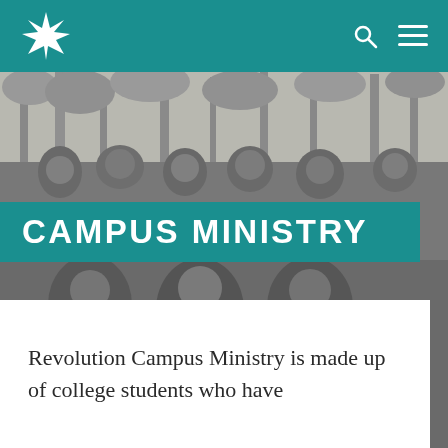Campus Ministry — Revolution Church navigation bar with logo
[Figure (photo): Black and white group photo of college students gathered outdoors in front of trees, smiling at camera. A banner overlay reads CAMPUS MINISTRY.]
CAMPUS MINISTRY
Revolution Campus Ministry is made up of college students who have